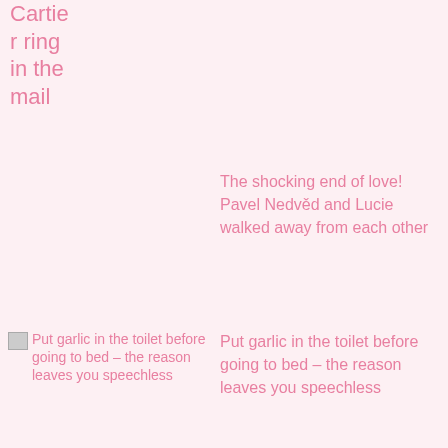Cartier ring in the mail
The shocking end of love! Pavel Nedvěd and Lucie walked away from each other
Put garlic in the toilet before going to bed – the reason leaves you speechless
Put garlic in the toilet before going to bed – the reason leaves you speechless